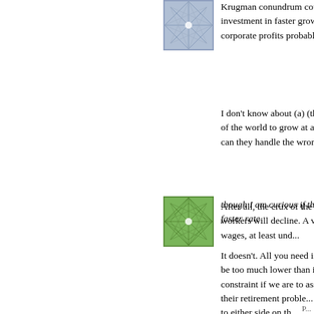[Figure (illustration): Blue/grey geometric star pattern avatar icon]
Krugman conundrum could b... investment in faster growing c... corporate profits probably gai...
I don't know about (a) (though rest of the world to grow at a the latter, can they handle the wrong.
After all, the crux of the Socia of US workers will decline. A v declining wages, at least und...
[Figure (illustration): Green geometric star/lattice pattern avatar icon]
though I am curious if this rec... at a faster rate
It doesn't. All you need is for ... to be too much lower than in ... constraint if we are to assum... solve their retirement proble... committed to either side on th...
P...